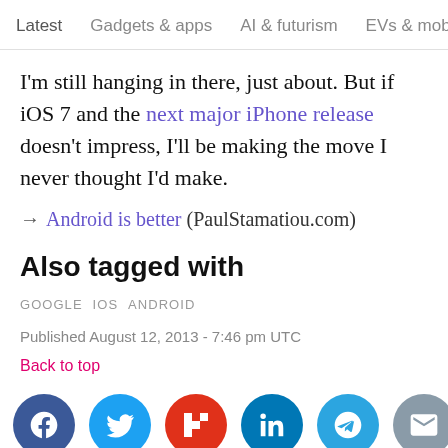Latest   Gadgets & apps   AI & futurism   EVs & mobil >
I'm still hanging in there, just about. But if iOS 7 and the next major iPhone release doesn't impress, I'll be making the move I never thought I'd make.
→ Android is better (PaulStamatiou.com)
Also tagged with
GOOGLE  IOS  ANDROID
Published August 12, 2013 - 7:46 pm UTC
Back to top
[Figure (other): Social sharing icons row: Facebook (blue), Twitter (light blue), Flipboard (red), LinkedIn (blue), Telegram (light blue), Email (grey)]